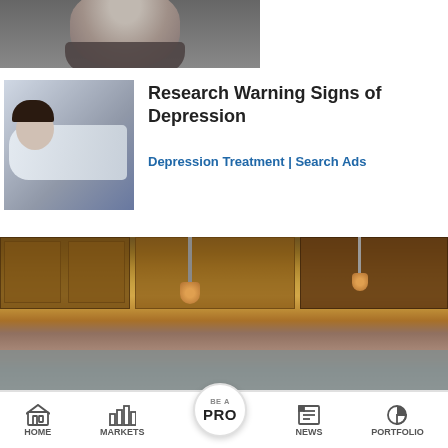[Figure (photo): Partial view of a man's face and beard, grayscale, cropped at the chin]
[Figure (photo): Person lying down sleeping in white clothing, grayscale/blue-toned image]
Research Warning Signs of Depression
Depression Treatment | Search Ads
[Figure (photo): Luxury kitchen interior with warm wood cabinets, pendant lights, and stone countertops]
US Election 2020: Kamala Harris urges
Tax exemption boosts luxury home sales
HOME  MARKETS  BE A PRO  NEWS  PORTFOLIO